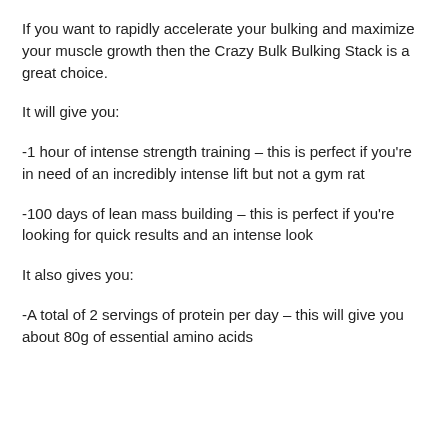If you want to rapidly accelerate your bulking and maximize your muscle growth then the Crazy Bulk Bulking Stack is a great choice.
It will give you:
-1 hour of intense strength training – this is perfect if you're in need of an incredibly intense lift but not a gym rat
-100 days of lean mass building – this is perfect if you're looking for quick results and an intense look
It also gives you:
-A total of 2 servings of protein per day – this will give you about 80g of essential amino acids